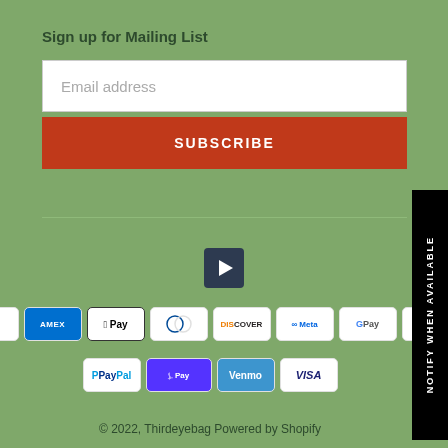Sign up for Mailing List
Email address
SUBSCRIBE
[Figure (other): Play button icon (dark rounded square with white triangle)]
[Figure (other): Payment method icons row 1: Amazon, Amex, Apple Pay, Diners Club, Discover, Meta, Google Pay, Mastercard]
[Figure (other): Payment method icons row 2: PayPal, Shop Pay, Venmo, Visa]
© 2022, Thirdeyebag Powered by Shopify
NOTIFY WHEN AVAILABLE